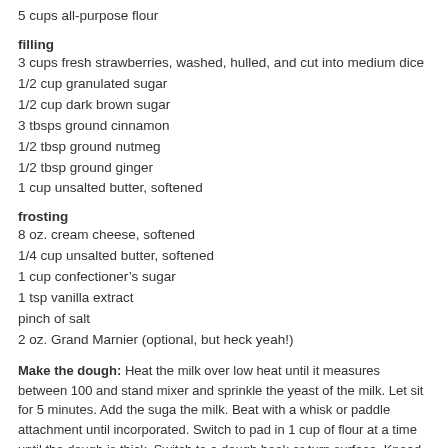5 cups all-purpose flour
filling
3 cups fresh strawberries, washed, hulled, and cut into medium dice
1/2 cup granulated sugar
1/2 cup dark brown sugar
3 tbsps ground cinnamon
1/2 tbsp ground nutmeg
1/2 tbsp ground ginger
1 cup unsalted butter, softened
frosting
8 oz. cream cheese, softened
1/4 cup unsalted butter, softened
1 cup confectioner’s sugar
1 tsp vanilla extract
pinch of salt
2 oz. Grand Marnier (optional, but heck yeah!)
Make the dough: Heat the milk over low heat until it measures between 100 and stand mixer and sprinkle the yeast of the milk. Let sit for 5 minutes. Add the suga the milk. Beat with a whisk or paddle attachment until incorporated. Switch to pad in 1 cup of flour at a time until the dough is thick. Switch to a dough hook or turn surface. Knead the dough until it becomes smooth (5 minutes with the dough hoo large bowl with unflavored oil (vegetable oil, canola oil), and place the dough in th thing with oil. Cover the bowl tightly with plastic wrap and set in a warm location t doubled in size.